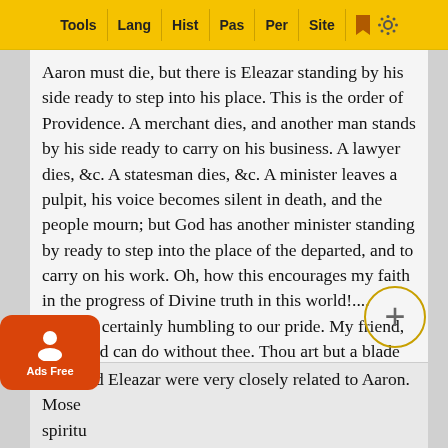Tools | Lang | Hist | Pas | Per | Site
Aaron must die, but there is Eleazar standing by his side ready to step into his place. This is the order of Providence. A merchant dies, and another man stands by his side ready to carry on his business. A lawyer dies, &c. A statesman dies, &c. A minister leaves a pulpit, his voice becomes silent in death, and the people mourn; but God has another minister standing by ready to step into the place of the departed, and to carry on his work. Oh, how this encourages my faith in the progress of Divine truth in this world!....
But it is certainly humbling to our pride. My friend, the world can do without thee. Thou art but a blade in the field; the landscape will bloom without thee.
VI. The trial of human friendships.
Moses and Eleazar were very closely related to Aaron. Mose[s] [was his] spirit[ual] affinit[y] ... the